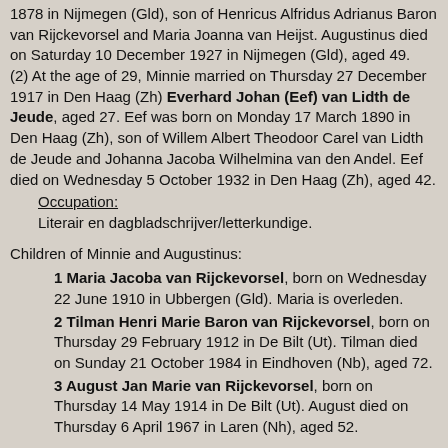1878 in Nijmegen (Gld), son of Henricus Alfridus Adrianus Baron van Rijckevorsel and Maria Joanna van Heijst. Augustinus died on Saturday 10 December 1927 in Nijmegen (Gld), aged 49. (2) At the age of 29, Minnie married on Thursday 27 December 1917 in Den Haag (Zh) Everhard Johan (Eef) van Lidth de Jeude, aged 27. Eef was born on Monday 17 March 1890 in Den Haag (Zh), son of Willem Albert Theodoor Carel van Lidth de Jeude and Johanna Jacoba Wilhelmina van den Andel. Eef died on Wednesday 5 October 1932 in Den Haag (Zh), aged 42.
Occupation:
Literair en dagbladschrijver/letterkundige.
Children of Minnie and Augustinus:
1 Maria Jacoba van Rijckevorsel, born on Wednesday 22 June 1910 in Ubbergen (Gld). Maria is overleden.
2 Tilman Henri Marie Baron van Rijckevorsel, born on Thursday 29 February 1912 in De Bilt (Ut). Tilman died on Sunday 21 October 1984 in Eindhoven (Nb), aged 72.
3 August Jan Marie van Rijckevorsel, born on Thursday 14 May 1914 in De Bilt (Ut). August died on Thursday 6 April 1967 in Laren (Nh), aged 52.